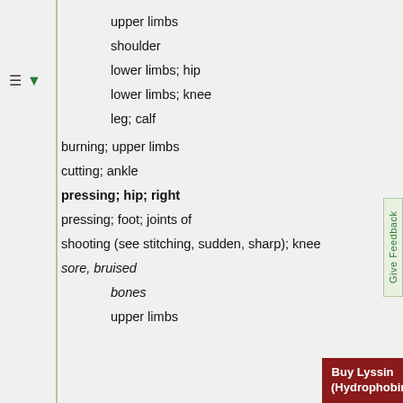upper limbs
shoulder
lower limbs; hip
lower limbs; knee
leg; calf
burning; upper limbs
cutting; ankle
pressing; hip; right
pressing; foot; joints of
shooting (see stitching, sudden, sharp); knee
sore, bruised
bones
upper limbs